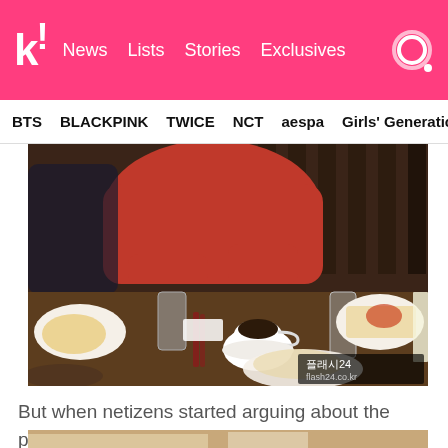k! News Lists Stories Exclusives
BTS BLACKPINK TWICE NCT aespa Girls' Generation
[Figure (photo): Person in red hoodie sitting at a restaurant table with plates of food and a cup of coffee. Watermark reads 플래시24 / flash24.co.kr]
But when netizens started arguing about the pictures, with some swearing at her, she decided to take the photos down.
[Figure (photo): Partial view of a restaurant interior, cropped at bottom of page]